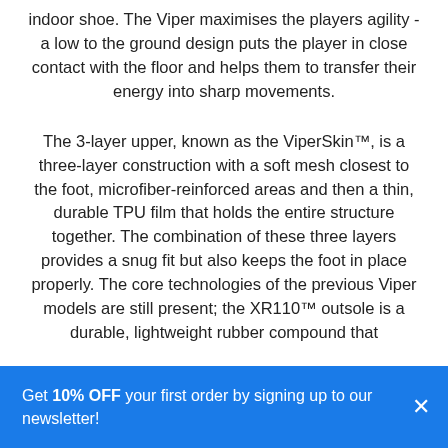indoor shoe. The Viper maximises the players agility - a low to the ground design puts the player in close contact with the floor and helps them to transfer their energy into sharp movements.
The 3-layer upper, known as the ViperSkin™, is a three-layer construction with a soft mesh closest to the foot, microfiber-reinforced areas and then a thin, durable TPU film that holds the entire structure together. The combination of these three layers provides a snug fit but also keeps the foot in place properly. The core technologies of the previous Viper models are still present; the XR110™ outsole is a durable, lightweight rubber compound that
Get 10% OFF your first order by signing up to our newsletter!